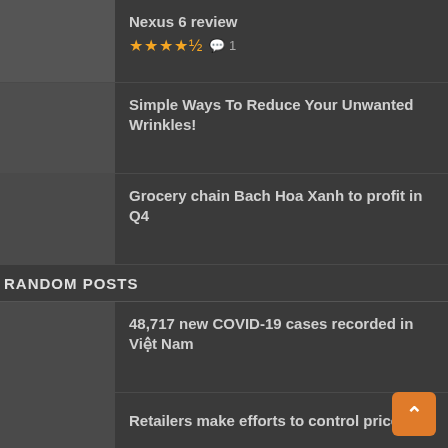Nexus 6 review ★★★★½ 💬 1
Simple Ways To Reduce Your Unwanted Wrinkles!
Grocery chain Bach Hoa Xanh to profit in Q4
RANDOM POSTS
48,717 new COVID-19 cases recorded in Việt Nam
Retailers make efforts to control prices